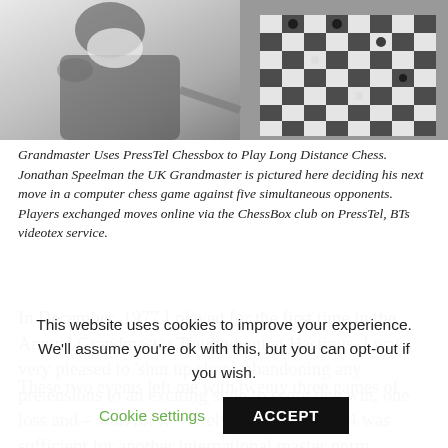[Figure (photo): Black and white photograph showing a chess grandmaster (Jonathan Speelman) playing chess, with a chess board visible on the right side of the image.]
Grandmaster Uses PressTel Chessbox to Play Long Distance Chess. Jonathan Speelman the UK Grandmaster is pictured here deciding his next move in a computer chess game against five simultaneous opponents. Players exchanged moves online via the ChessBox club on PressTel, BTs videotex service.
In December, 1977 I played for the first time in the Annual Grandmaster Tournament at Hastings. I was very pleased to 'shut up shop', abandoning any pretensions to an exciting style to score one win, one loss and – wait for it – twelve draws; but 7/14 was sufficient for another international master norm.
These two events left me with twenty three games of norm
This website uses cookies to improve your experience. We'll assume you're ok with this, but you can opt-out if you wish.